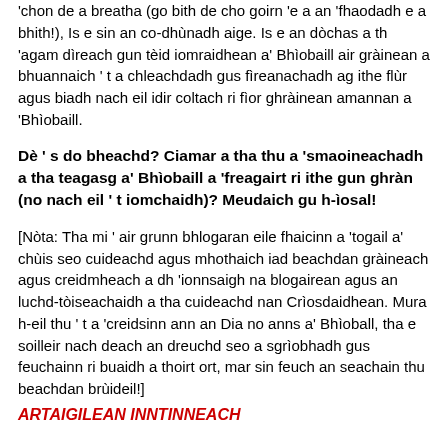'chon de a breatha (go bith de cho goirn 'e a an 'fhaodadh e a bhith!), Is e sin an co-dhùnadh aige. Is e an dòchas a th 'agam dìreach gun tèid iomraidhean a' Bhìobaill air gràinean a bhuannaich ' t a chleachdadh gus fìreanachadh ag ithe flùr agus biadh nach eil idir coltach ri fìor ghràinean amannan a 'Bhìobaill.
Dè ' s do bheachd? Ciamar a tha thu a 'smaoineachadh a tha teagasg a' Bhìobaill a 'freagairt ri ithe gun ghràn (no nach eil ' t iomchaidh)? Meudaich gu h-ìosal!
[Nòta: Tha mi ' air grunn bhlogaran eile fhaicinn a 'togail a' chùis seo cuideachd agus mhothaich iad beachdan gràineach agus creidmheach a dh 'ionnsaigh na blogairean agus an luchd-tòiseachaidh a tha cuideachd nan Crìosdaidhean. Mura h-eil thu ' t a 'creidsinn ann an Dia no anns a' Bhìoball, tha e soilleir nach deach an dreuchd seo a sgrìobhadh gus feuchainn ri buaidh a thoirt ort, mar sin feuch an seachain thu beachdan brùideil!]
ARTAIGILEAN INNTINNEACH